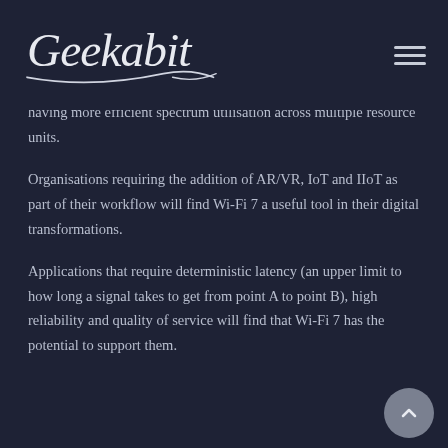Geekabit
having more efficient spectrum utilisation across multiple resource units.
Organisations requiring the addition of AR/VR, IoT and IIoT as part of their workflow will find Wi-Fi 7 a useful tool in their digital transformations.
Applications that require deterministic latency (an upper limit to how long a signal takes to get from point A to point B), high reliability and quality of service will find that Wi-Fi 7 has the potential to support them.